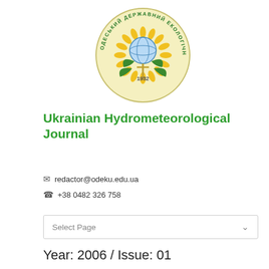[Figure (logo): Circular university seal/logo for Odessa State Ecological University (founded 1932), featuring a globe and plant motifs with Ukrainian text around the border, on a pale yellow background.]
Ukrainian Hydrometeorological Journal
✉ redactor@odeku.edu.ua
☎ +38 0482 326 758
Select Page
Year: 2006 / Issue: 01